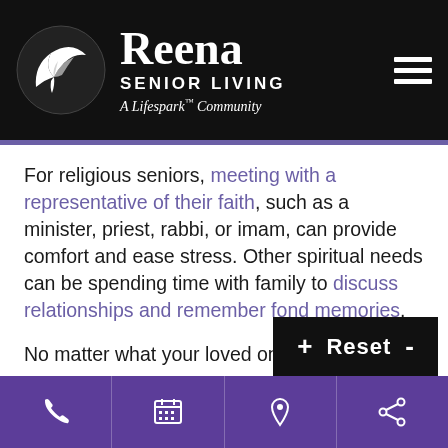[Figure (logo): Reena Senior Living logo — white bird/wing icon in circle, serif 'Reena', 'SENIOR LIVING', 'A Lifespark™ Community']
For religious seniors, meeting with a representative of their faith, such as a minister, priest, rabbi, or imam, can provide comfort and ease stress. Other spiritual needs can be spending time with family to discuss relationships and remember fond memories.
No matter what your loved one care can provide them with the support they need.
[Figure (screenshot): Font size control widget showing '+ Reset -' on dark background]
[Figure (infographic): Purple footer navigation bar with phone, calendar, location pin, and share icons]